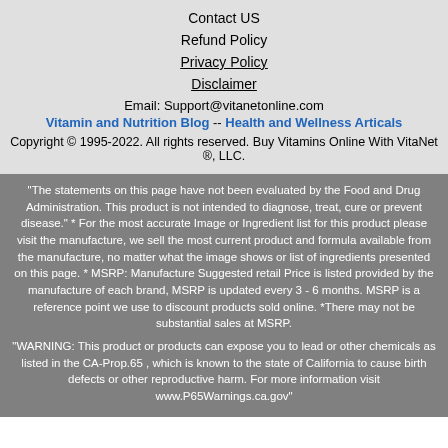Contact US
Refund Policy
Privacy Policy
Disclaimer
Email: Support@vitanetonline.com
Vitamin and Nutrition Blog -- Health and Wellness Articals
Copyright © 1995-2022. All rights reserved. Buy Vitamins Online With VitaNet ®, LLC.
"The statements on this page have not been evaluated by the Food and Drug Administration. This product is not intended to diagnose, treat, cure or prevent disease." * For the most accurate Image or Ingredient list for this product please visit the manufacture, we sell the most current product and formula available from the manufacture, no matter what the image shows or list of ingredients presented on this page. * MSRP: Manufacture Suggested retail Price is listed provided by the manufacture of each brand, MSRP is updated every 3 - 6 months. MSRP is a reference point we use to discount products sold online. *There may not be substantial sales at MSRP.
"WARNING: This product or products can expose you to lead or other chemicals as listed in the CA-Prop.65 , which is known to the state of California to cause birth defects or other reproductive harm. For more information visit www.P65Warnings.ca.gov"